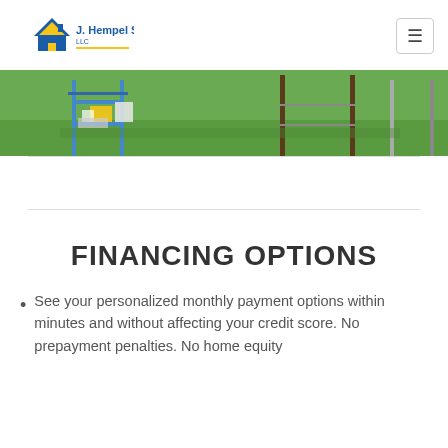[Figure (logo): J. Hempel Services LLC logo with a house icon and yellow/blue coloring]
[Figure (photo): Construction site photo showing scaffolding, equipment and supplies on a green lawn in daylight]
FINANCING OPTIONS
See your personalized monthly payment options within minutes and without affecting your credit score. No prepayment penalties. No home equity required.